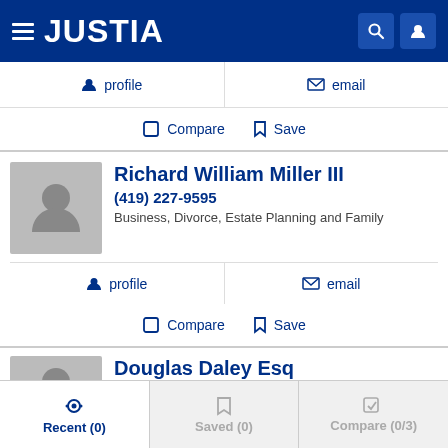JUSTIA
profile   email
Compare   Save
Richard William Miller III
(419) 227-9595
Business, Divorce, Estate Planning and Family
profile   email
Compare   Save
Douglas Daley Esq
(419) 227-9595
Recent (0)   Saved (0)   Compare (0/3)